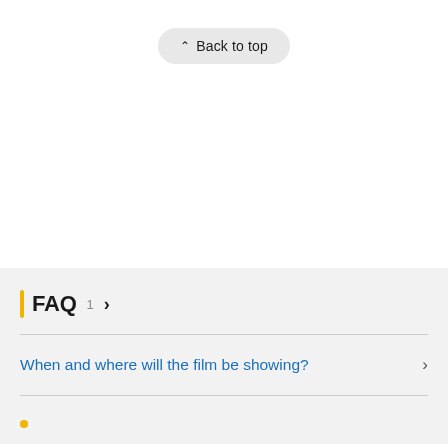[Figure (screenshot): Back to top button — a pill-shaped button with upward chevron icon and text 'Back to top']
FAQ 1 >
When and where will the film be showing?